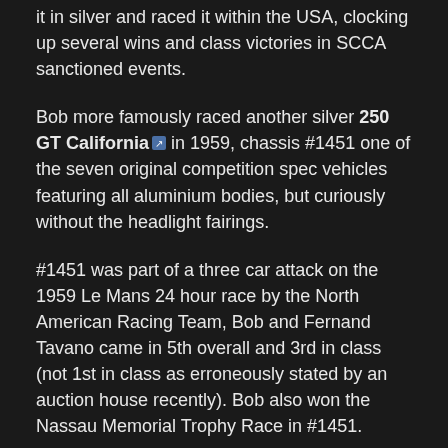it in silver and raced it within the USA, clocking up several wins and class victories in SCCA sanctioned events.
Bob more famously raced another silver 250 GT California [link] in 1959, chassis #1451 one of the seven original competition spec vehicles featuring all aluminium bodies, but curiously without the headlight fairings.
#1451 was part of a three car attack on the 1959 Le Mans 24 hour race by the North American Racing Team, Bob and Fernand Tavano came in 5th overall and 3rd in class (not 1st in class as erroneously stated by an auction house recently). Bob also won the Nassau Memorial Trophy Race in #1451.
(Paragraph on subsequent history of #1451 removed 03/04/11)
My thanks again to Steve & Ed Arnaudin, hope you have